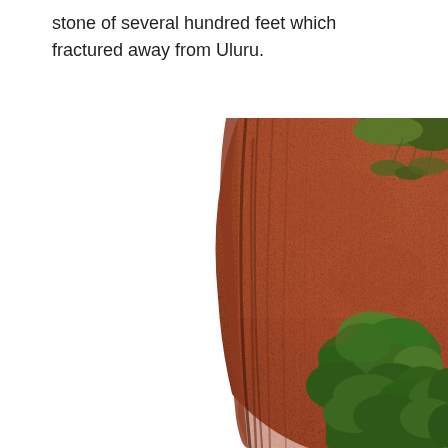stone of several hundred feet which fractured away from Uluru.
[Figure (photo): Close-up photograph of Uluru (Ayers Rock) showing the massive red sandstone rock face with curved vertical striations and green trees/vegetation growing at its base and visible at the top right corner.]